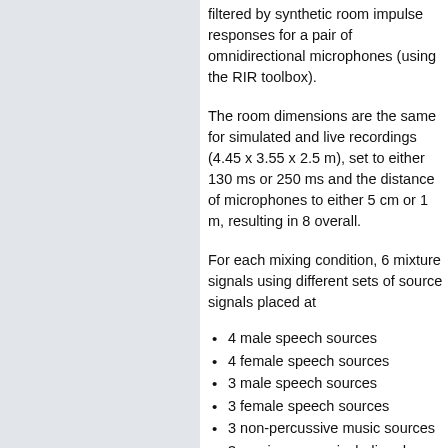filtered by synthetic room impulse responses for a pair of omnidirectional microphones (using the RIR toolbox).
The room dimensions are the same for simulated and live recordings (4.45 x 3.55 x 2.5 m), set to either 130 ms or 250 ms and the distance of microphones to either 5 cm or 1 m, resulting in 8 overall.
For each mixing condition, 6 mixture signals using different sets of source signals placed at
4 male speech sources
4 female speech sources
3 male speech sources
3 female speech sources
3 non-percussive music sources
3 music sources including drums
The source directions of arrival vary bet